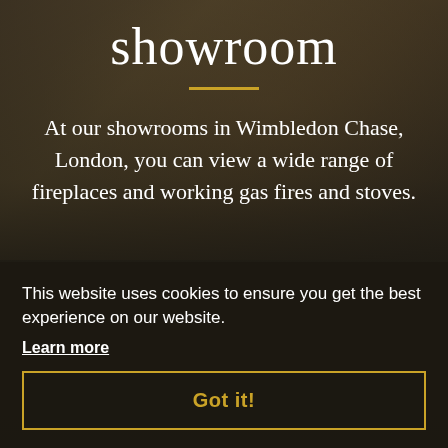showroom
At our showrooms in Wimbledon Chase, London, you can view a wide range of fireplaces and working gas fires and stoves.
This website uses cookies to ensure you get the best experience on our website.
Learn more
Got it!